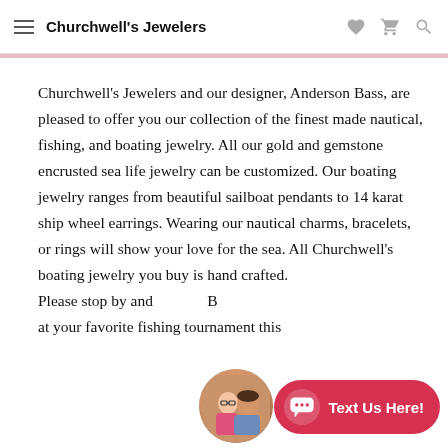Churchwell's Jewelers
Churchwell's Jewelers and our designer, Anderson Bass, are pleased to offer you our collection of the finest made nautical, fishing, and boating jewelry. All our gold and gemstone encrusted sea life jewelry can be customized. Our boating jewelry ranges from beautiful sailboat pendants to 14 karat ship wheel earrings. Wearing our nautical charms, bracelets, or rings will show your love for the sea. All Churchwell's boating jewelry you buy is hand crafted.
Please stop by and B at your favorite fishing tournament this
[Figure (photo): Circular avatar photo of two people (a woman and a man), overlapping a red chat button]
Text Us Here!